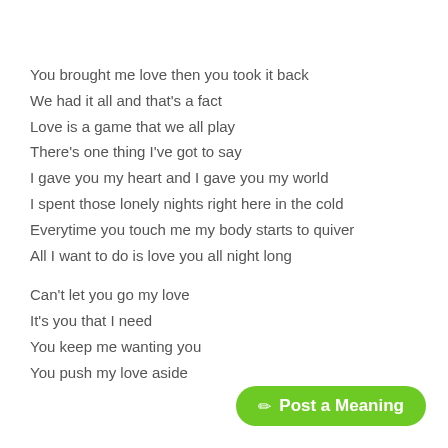You brought me love then you took it back
We had it all and that's a fact
Love is a game that we all play
There's one thing I've got to say
I gave you my heart and I gave you my world
I spent those lonely nights right here in the cold
Everytime you touch me my body starts to quiver
All I want to do is love you all night long

Can't let you go my love
It's you that I need
You keep me wanting you
You push my love aside
[Figure (other): Green rounded button with pencil icon and text 'Post a Meaning']